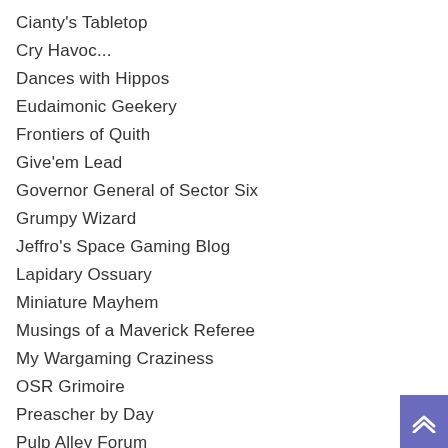Cianty's Tabletop
Cry Havoc...
Dances with Hippos
Eudaimonic Geekery
Frontiers of Quith
Give'em Lead
Governor General of Sector Six
Grumpy Wizard
Jeffro's Space Gaming Blog
Lapidary Ossuary
Miniature Mayhem
Musings of a Maverick Referee
My Wargaming Craziness
OSR Grimoire
Preascher by Day
Pulp Alley Forum
The Leadpile